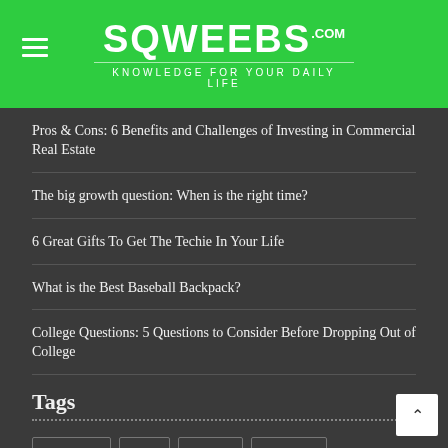SQWEEBS.com — KNOWLEDGE FOR YOUR DAILY LIFE
Pros & Cons: 6 Benefits and Challenges of Investing in Commercial Real Estate
The big growth question: When is the right time?
6 Great Gifts To Get The Techie In Your Life
What is the Best Baseball Backpack?
College Questions: 5 Questions to Consider Before Dropping Out of College
Tags
ATTORNEY  AUTO  BEAUTY  BUSINESS  BUSINESS TALK  CAREER  CAREERS  CHILDREN  COLLEGE  DIY  EDUCATION  ENTERTAINMENT